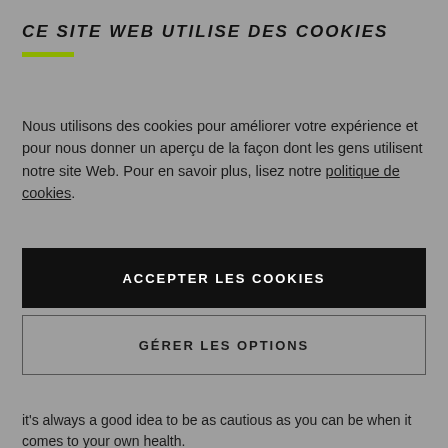CE SITE WEB UTILISE DES COOKIES
Nous utilisons des cookies pour améliorer votre expérience et pour nous donner un aperçu de la façon dont les gens utilisent notre site Web. Pour en savoir plus, lisez notre politique de cookies.
ACCEPTER LES COOKIES
GÉRER LES OPTIONS
it's always a good idea to be as cautious as you can be when it comes to your own health.